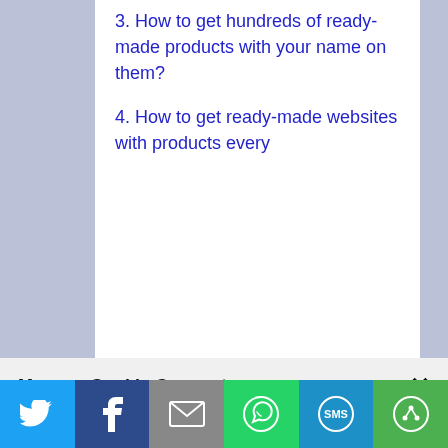3. How to get hundreds of ready-made products with your name on them?
4. How to get ready-made websites with products every...
Manage Cookie Consent
We use cookies to optimize our website and our service.
ACCEPT
DENY
We use cookies to ensure that we give you the best experience on our website. If you continue to use this site we will assume that you are happy with it.